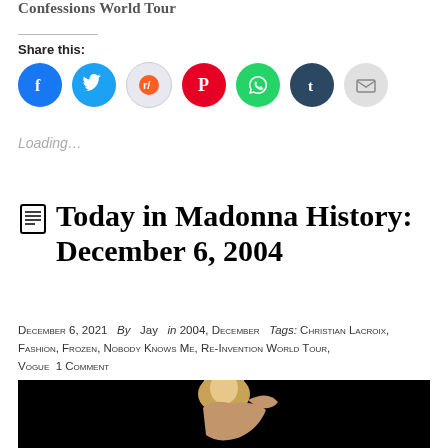Confessions World Tour
Share this:
[Figure (other): Share icons: Facebook (blue), Twitter (blue), Reddit (light blue), Pinterest (red), WhatsApp (green), Tumblr (dark blue), Email (gray)]
Loading…
Today in Madonna History: December 6, 2004
December 6, 2021  By  Jay  in 2004, December  Tags: Christian Lacroix, Fashion, Frozen, Nobody Knows Me, Re-Invention World Tour, Vogue  1 Comment
[Figure (photo): Photograph of a blonde female performer dancing against a dark/black background]